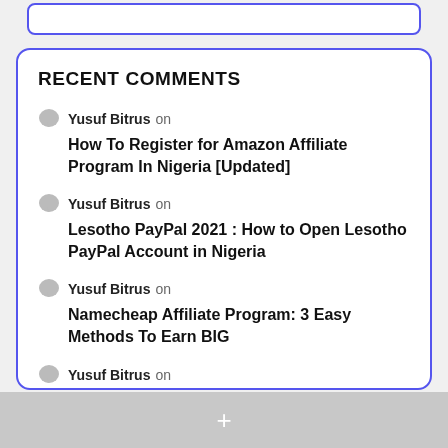RECENT COMMENTS
Yusuf Bitrus on How To Register for Amazon Affiliate Program In Nigeria [Updated]
Yusuf Bitrus on Lesotho PayPal 2021 : How to Open Lesotho PayPal Account in Nigeria
Yusuf Bitrus on Namecheap Affiliate Program: 3 Easy Methods To Earn BIG
Yusuf Bitrus on How to Receive Amazon Payments in Nigeria
Yusuf Bitrus on How To Register for Amazon Affiliate Program In…